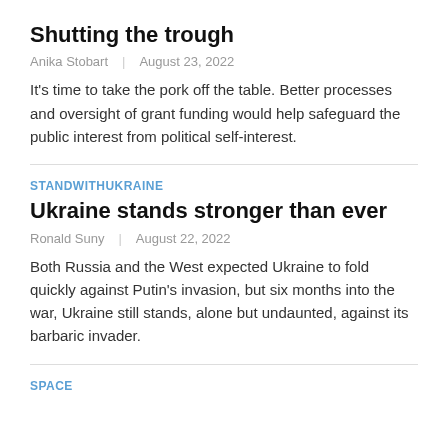Shutting the trough
Anika Stobart  |  August 23, 2022
It’s time to take the pork off the table. Better processes and oversight of grant funding would help safeguard the public interest from political self-interest.
STANDWITHUKRAINE
Ukraine stands stronger than ever
Ronald Suny  |  August 22, 2022
Both Russia and the West expected Ukraine to fold quickly against Putin’s invasion, but six months into the war, Ukraine still stands, alone but undaunted, against its barbaric invader.
SPACE